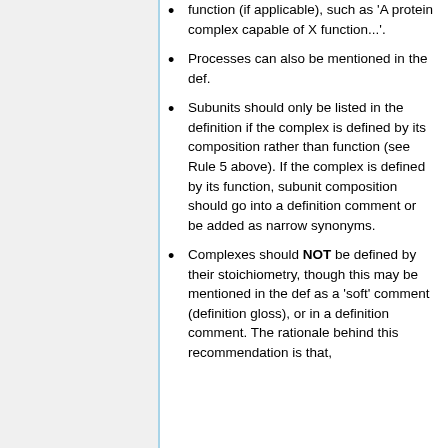function (if applicable), such as 'A protein complex capable of X function...'.
Processes can also be mentioned in the def.
Subunits should only be listed in the definition if the complex is defined by its composition rather than function (see Rule 5 above). If the complex is defined by its function, subunit composition should go into a definition comment or be added as narrow synonyms.
Complexes should NOT be defined by their stoichiometry, though this may be mentioned in the def as a 'soft' comment (definition gloss), or in a definition comment. The rationale behind this recommendation is that,